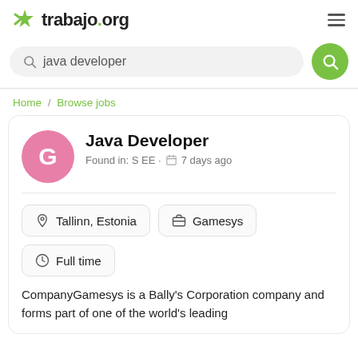trabajo.org
java developer
Home / Browse jobs
Java Developer
Found in: S EE · 7 days ago
Tallinn, Estonia
Gamesys
Full time
CompanyGamesys is a Bally's Corporation company and forms part of one of the world's leading